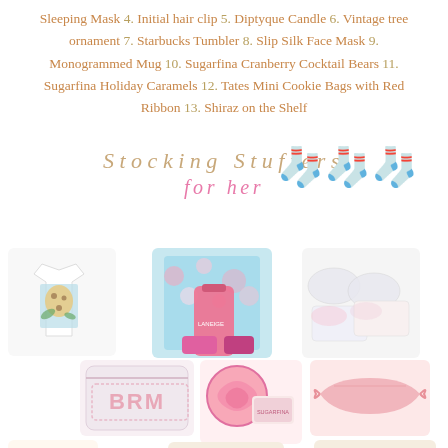Sleeping Mask 4. Initial hair clip 5. Diptyque Candle 6. Vintage tree ornament 7. Starbucks Tumbler 8. Slip Silk Face Mask 9. Monogrammed Mug 10. Sugarfina Cranberry Cocktail Bears 11. Sugarfina Holiday Caramels 12. Tates Mini Cookie Bags with Red Ribbon 13. Shiraz on the Shelf
Stocking Stuffers for her
[Figure (photo): Collage of stocking stuffer gift items for her including: a graphic t-shirt with leopard illustration, a Laneige lip gloss set in pink and blue packaging, eye mask/face pads, a BRM monogrammed pouch, pink swirl candle tins, a pink silk face mask, a colorful patterned item bottom left, nude/tan items bottom center and right.]